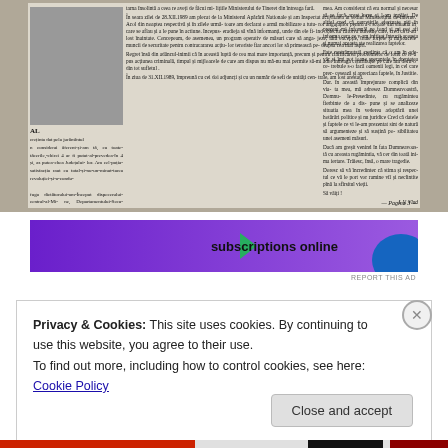[Figure (photo): Scanned Romanian newspaper page showing two columns of dense Romanian text with a photograph in the upper left. The text appears to be a political statement or letter. Bottom line reads 'Pagina 3'.]
[Figure (other): Advertisement banner with purple background, green triangle arrow, text 'subscriptions online', blue circle element, and 'REPORT THIS AD' link.]
Privacy & Cookies: This site uses cookies. By continuing to use this website, you agree to their use.
To find out more, including how to control cookies, see here: Cookie Policy
Close and accept